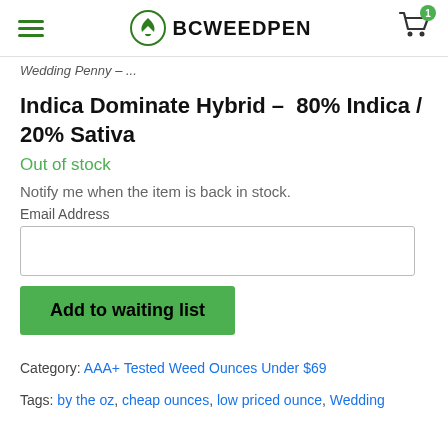BC WEED PEN
Wedding Penny – ...
Indica Dominate Hybrid – 80% Indica / 20% Sativa
Out of stock
Notify me when the item is back in stock.
Email Address
Add to waiting list
Category: AAA+ Tested Weed Ounces Under $69
Tags: by the oz, cheap ounces, low priced ounce, Wedding